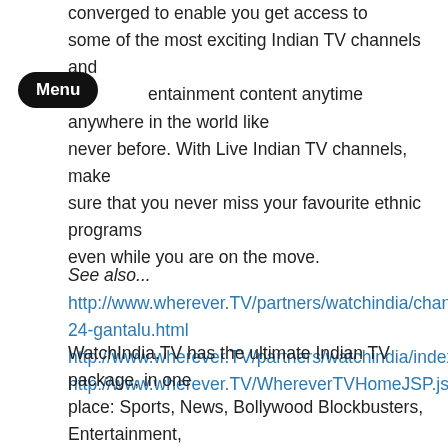converged to enable you get access to some of the most exciting Indian TV channels and entertainment content anytime anywhere in the world like never before. With Live Indian TV channels, make sure that you never miss your favourite ethnic programs even while you are on the move.
See also...
http://www.wherever.TV/partners/watchindia/channel/zee-24-gantalu.html
http://www.wherever.TV/partners/watchindia/index.html
http://www.wherever.TV/WhereverTVHomeJSP.jsf
WatchIndia.TV has the ultimate Indian TV package, in one place: Sports, News, Bollywood Blockbusters, Entertainment, Drama and Comedy shows, Spiritual programs and movies, movies, movies. Anytime. Anywhere. The WatchIndia.TV channel lineup includes:Zoom TV, Times Now, Zee TV, Zee Sports, Zee Cinema,